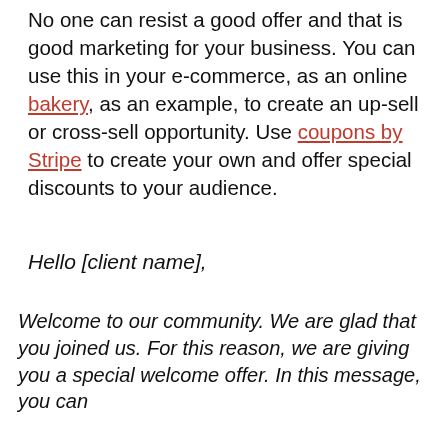No one can resist a good offer and that is good marketing for your business. You can use this in your e-commerce, as an online bakery, as an example, to create an up-sell or cross-sell opportunity. Use coupons by Stripe to create your own and offer special discounts to your audience.
Hello [client name],
Welcome to our community. We are glad that you joined us. For this reason, we are giving you a special welcome offer. In this message, you can
Click Here To Build Your Form For Free
[Figure (other): A button with red border and red text reading 'Create form' with rounded corners]